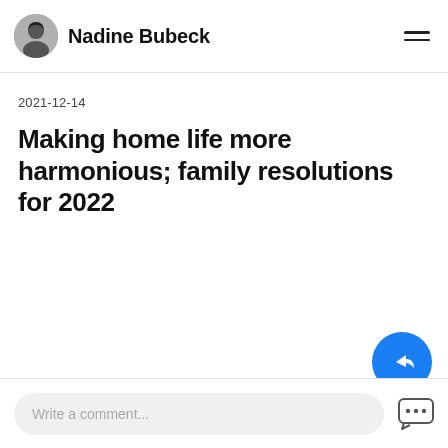Nadine Bubeck
2021-12-14
Making home life more harmonious; family resolutions for 2022